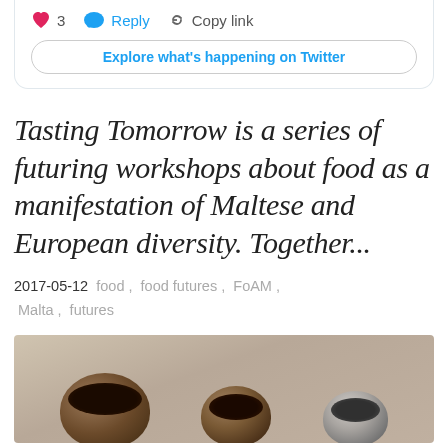[Figure (screenshot): Twitter/social media card bottom showing like count (3), Reply, Copy link actions and Explore what's happening on Twitter button]
Tasting Tomorrow is a series of futuring workshops about food as a manifestation of Maltese and European diversity. Together...
2017-05-12  food ,  food futures ,  FoAM ,  Malta ,  futures
[Figure (photo): Three wooden and ceramic bowls viewed from above on a light background]